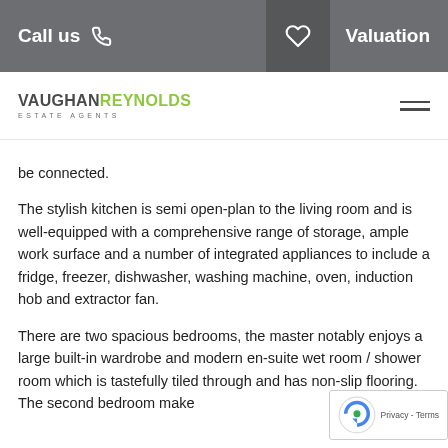Call us   Valuation
[Figure (logo): Vaughan Reynolds Estate Agents logo with hamburger menu icon]
be connected.
The stylish kitchen is semi open-plan to the living room and is well-equipped with a comprehensive range of storage, ample work surface and a number of integrated appliances to include a fridge, freezer, dishwasher, washing machine, oven, induction hob and extractor fan.
There are two spacious bedrooms, the master notably enjoys a large built-in wardrobe and modern en-suite wet room / shower room which is tastefully tiled through and has non-slip flooring. The second bedroom make...